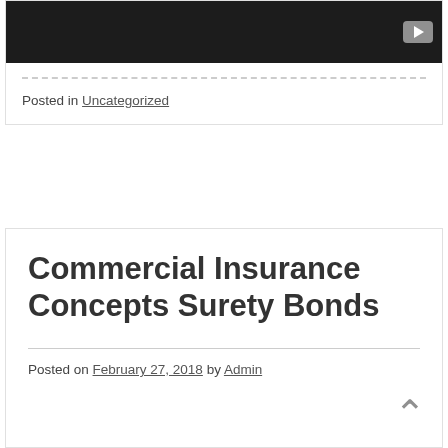[Figure (screenshot): Embedded video player with dark background and play button in upper right]
Posted in Uncategorized
Commercial Insurance Concepts Surety Bonds
Posted on February 27, 2018 by Admin